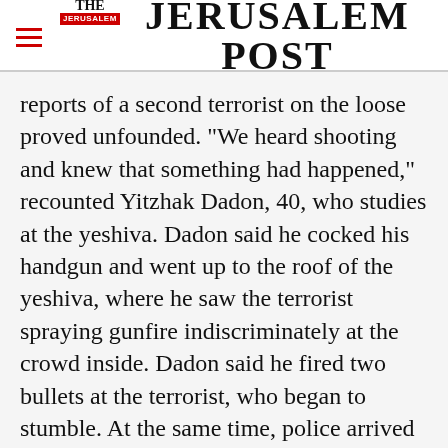THE JERUSALEM POST
reports of a second terrorist on the loose proved unfounded. "We heard shooting and knew that something had happened," recounted Yitzhak Dadon, 40, who studies at the yeshiva. Dadon said he cocked his handgun and went up to the roof of the yeshiva, where he saw the terrorist spraying gunfire indiscriminately at the crowd inside. Dadon said he fired two bullets at the terrorist, who began to stumble. At the same time, police arrived at the scene and an intense
Advertisement